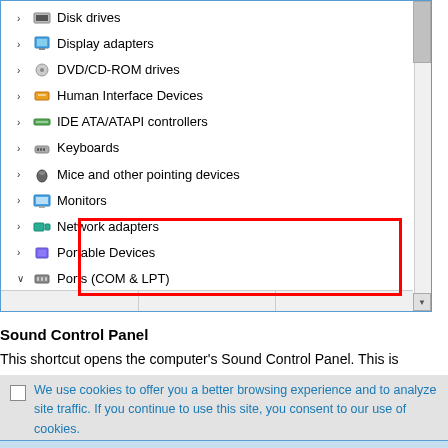[Figure (screenshot): Windows Device Manager showing a list of hardware categories. 'Ports (COM & LPT)' is expanded showing 'Communications Port (COM1)', highlighted with a red rectangle border.]
Sound Control Panel
This shortcut opens the computer's Sound Control Panel. This is
We use cookies to offer you a better browsing experience and to analyze site traffic. If you continue to use this site, you consent to our use of cookies. [See Our Policy]